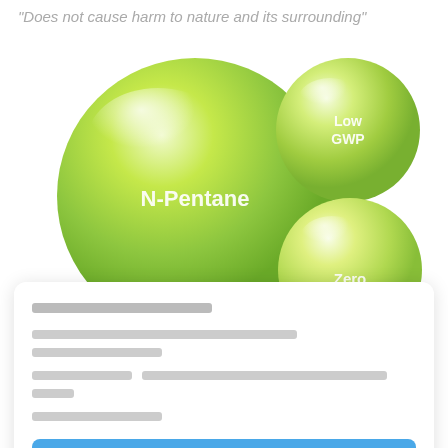"Does not cause harm to nature and its surrounding"
[Figure (illustration): Green glossy bubble illustration showing N-Pentane large bubble on the left, smaller bubble with 'Low GWP' text upper right, and another smaller bubble with 'Zero' text lower right]
Thai language text block with title and body paragraph
Button with Thai text (blue rounded button)
Link with Thai text (underlined blue link)